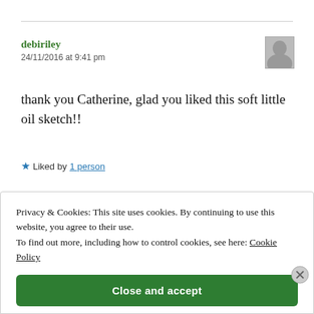debiriley
24/11/2016 at 9:41 pm
thank you Catherine, glad you liked this soft little oil sketch!!
★ Liked by 1 person
Privacy & Cookies: This site uses cookies. By continuing to use this website, you agree to their use.
To find out more, including how to control cookies, see here: Cookie Policy
Close and accept